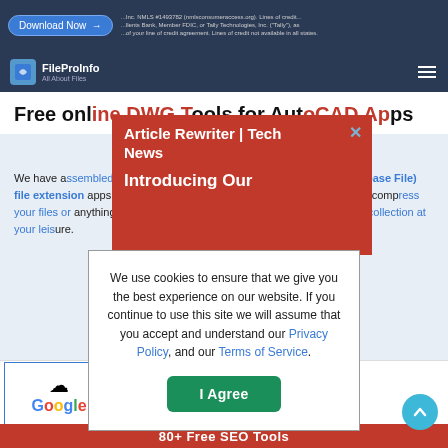FileProInfo - All About Files | Navigation header with hamburger menu
Free online DWG Tools for AutoCAD Apps
We have assembled the best free online DWG (AutoCAD Drawing Database File) file extension apps that can allow to view, edit, convert, merge, split and compress your files or anything on your site. We invite you to explore the complete collection at your leisure.
[Figure (screenshot): Red advertisement overlay for Article Rewriter | Tech News with close button and 'Introducing Our' headline]
We use cookies to ensure that we give you the best experience on our website. If you continue to use this site we will assume that you accept and understand our Privacy Policy, and our Terms of Service.
[Figure (other): I Agree consent button in green]
[Figure (logo): Google logo with cloud graphic]
[Figure (screenshot): Right side advertisement with Discover How and virtru branding]
80+ Free SEO Tools